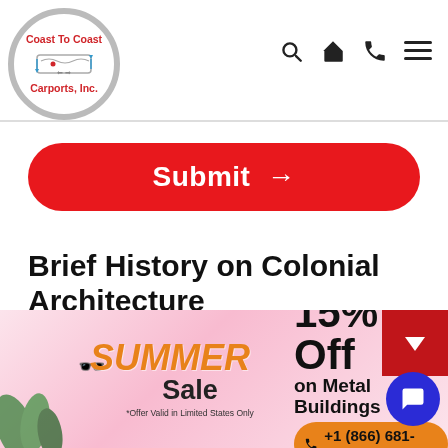[Figure (logo): Coast To Coast Carports, Inc. logo in circular frame with map of USA]
[Figure (screenshot): Navigation icons: search, home, phone, hamburger menu]
[Figure (other): Red rounded Submit button with arrow]
Brief History on Colonial Architecture
Colonial buildings and legacies are scattered all over America, Africa, Asia, and some other places. These
[Figure (infographic): Summer Sale 15% Off on Metal Buildings banner with phone number +1 (866) 681-7846 and offer note *Offer Valid in Limited States Only]